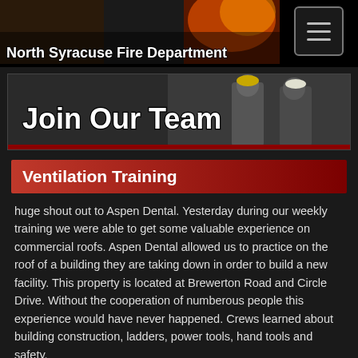[Figure (photo): North Syracuse Fire Department header banner with firefighter action photos and text 'North Syracuse Fire Department']
[Figure (photo): Join Our Team banner with firefighters in gear on right side]
Ventilation Training
huge shout out to Aspen Dental. Yesterday during our weekly training we were able to get some valuable experience on commercial roofs. Aspen Dental allowed us to practice on the roof of a building they are taking down in order to build a new facility. This property is located at Brewerton Road and Circle Drive. Without the cooperation of numberous people this experience would have never happened. Crews learned about building construction, ladders, power tools, hand tools and safety.
» Read Full Article